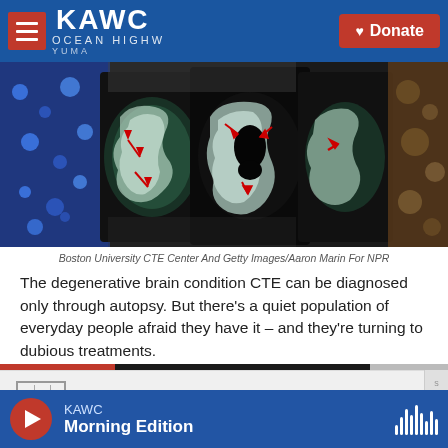KAWC | Donate
[Figure (photo): Collage showing brain MRI scans with red arrows indicating areas of interest (CTE), alongside microscopy images of brain tissue and other medical/research imagery. Center images show cross-sections of human brain with red arrow markers.]
Boston University CTE Center And Getty Images/Aaron Marin For NPR
The degenerative brain condition CTE can be diagnosed only through autopsy. But there's a quiet population of everyday people afraid they have it – and they're turning to dubious treatments.
[Figure (screenshot): NPR embed widget showing NPR logo and 'investigations' section label, with audio player controls. A red/black progress bar is visible at the top of the embed.]
KAWC Morning Edition